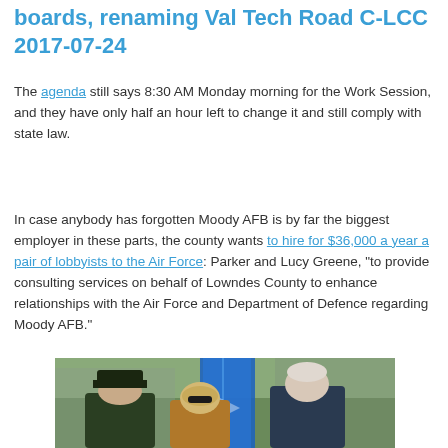boards, renaming Val Tech Road C-LCC 2017-07-24
The agenda still says 8:30 AM Monday morning for the Work Session, and they have only half an hour left to change it and still comply with state law.
In case anybody has forgotten Moody AFB is by far the biggest employer in these parts, the county wants to hire for $36,000 a year a pair of lobbyists to the Air Force: Parker and Lucy Greene, “to provide consulting services on behalf of Lowndes County to enhance relationships with the Air Force and Department of Defence regarding Moody AFB.”
[Figure (photo): Three people standing together, two men and a woman, in front of a blue flag, outdoors. The man on the left appears to be in military uniform with a cap. The group appears to be at an official ceremony or event.]